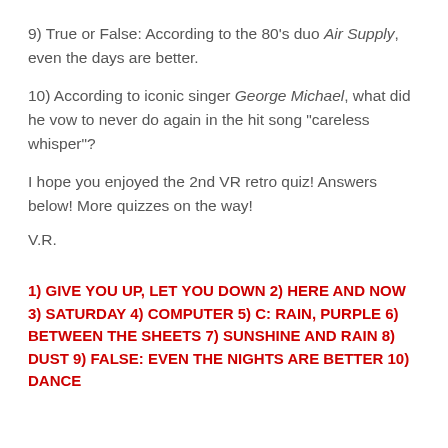9) True or False: According to the 80's duo Air Supply, even the days are better.
10) According to iconic singer George Michael, what did he vow to never do again in the hit song "careless whisper"?
I hope you enjoyed the 2nd VR retro quiz! Answers below! More quizzes on the way!
V.R.
1) GIVE YOU UP, LET YOU DOWN 2) HERE AND NOW 3) SATURDAY 4) COMPUTER 5) C: RAIN, PURPLE 6) BETWEEN THE SHEETS 7) SUNSHINE AND RAIN 8) DUST 9) FALSE: EVEN THE NIGHTS ARE BETTER 10) DANCE